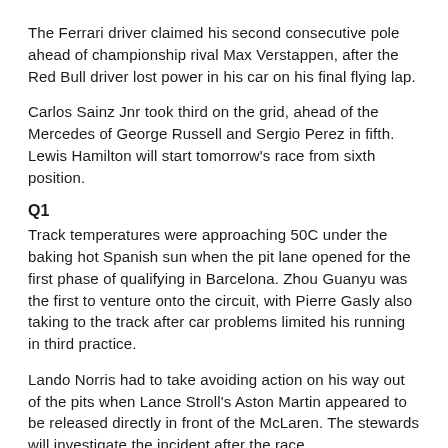The Ferrari driver claimed his second consecutive pole ahead of championship rival Max Verstappen, after the Red Bull driver lost power in his car on his final flying lap.
Carlos Sainz Jnr took third on the grid, ahead of the Mercedes of George Russell and Sergio Perez in fifth. Lewis Hamilton will start tomorrow's race from sixth position.
Q1
Track temperatures were approaching 50C under the baking hot Spanish sun when the pit lane opened for the first phase of qualifying in Barcelona. Zhou Guanyu was the first to venture onto the circuit, with Pierre Gasly also taking to the track after car problems limited his running in third practice.
Lando Norris had to take avoiding action on his way out of the pits when Lance Stroll's Aston Martin appeared to be released directly in front of the McLaren. The stewards will investigate the incident after the race.